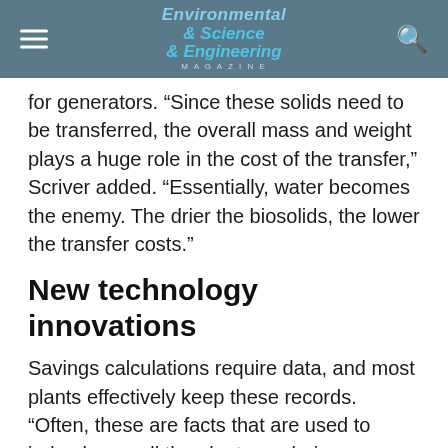Environmental Science & Engineering Magazine
for generators. “Since these solids need to be transferred, the overall mass and weight plays a huge role in the cost of the transfer,” Scriver added. “Essentially, water becomes the enemy. The drier the biosolids, the lower the transfer costs.”
New technology innovations
Savings calculations require data, and most plants effectively keep these records. “Often, these are facts that are used to judge how well the plants are being managed,” Scriver explained. “However,